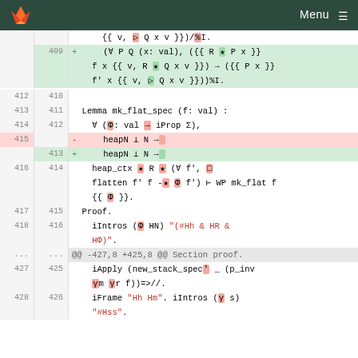GitLab — Menu
Diff view of Coq proof code showing changes to mk_flat_spec lemma and related proof steps. Lines 409-428 shown with additions and deletions.